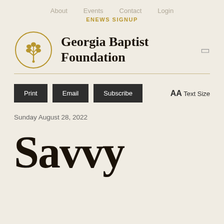About   Events   Contact   Login
ENEWS SIGNUP
[Figure (logo): Georgia Baptist Foundation logo: circular emblem with a stylized tree/plant motif in gold, alongside bold serif text reading Georgia Baptist Foundation]
Print  Email  Subscribe  AA Text Size
Sunday August 28, 2022
Savvy